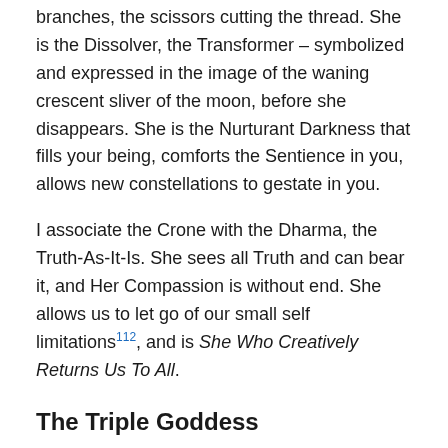branches, the scissors cutting the thread. She is the Dissolver, the Transformer – symbolized and expressed in the image of the waning crescent sliver of the moon, before she disappears. She is the Nurturant Darkness that fills your being, comforts the Sentience in you, allows new constellations to gestate in you.
I associate the Crone with the Dharma, the Truth-As-It-Is. She sees all Truth and can bear it, and Her Compassion is without end. She allows us to let go of our small self limitations¹¹², and is She Who Creatively Returns Us To All.
The Triple Goddess
She has these faces, but She is One. These faces kaleidoscope into each other, they blur, they support each